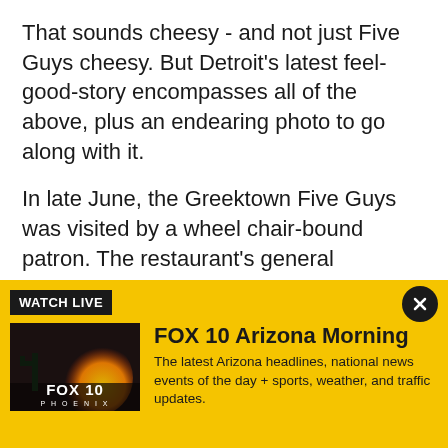That sounds cheesy - and not just Five Guys cheesy. But Detroit's latest feel-good-story encompasses all of the above, plus an endearing photo to go along with it.
In late June, the Greektown Five Guys was visited by a wheel chair-bound patron. The restaurant's general manager had seen him before. He'd made stops at the eatery previously. But on this particular occasion, Justin Hollon noticed the man just wasn't the same.
"This time when he came in, he was having trouble
[Figure (screenshot): FOX 10 Watch Live banner with yellow background, showing FOX 10 Phoenix logo thumbnail on left and 'FOX 10 Arizona Morning' title with description text on right. A black 'WATCH LIVE' label appears at the top left and a black close button (X) at the top right.]